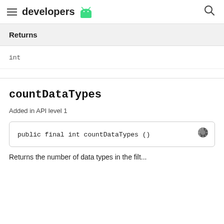developers
| Returns |
| --- |
| int |
countDataTypes
Added in API level 1
public final int countDataTypes ()
Returns the number of data types in the filt...